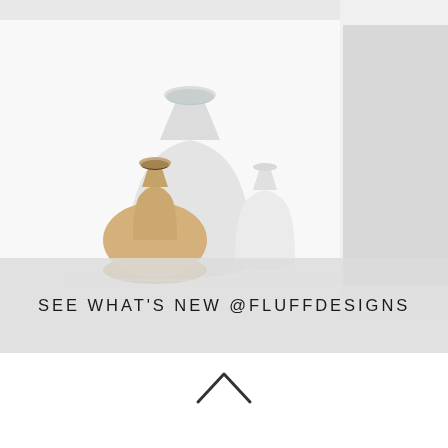[Figure (photo): Three ceramic vases of different shapes and colors (white/grey, cream/beige, small white) arranged on a white surface, with a light grey rectangular panel on the right side.]
SEE WHAT'S NEW @FLUFFDESIGNS
[Figure (illustration): Upward pointing chevron / caret arrow symbol]